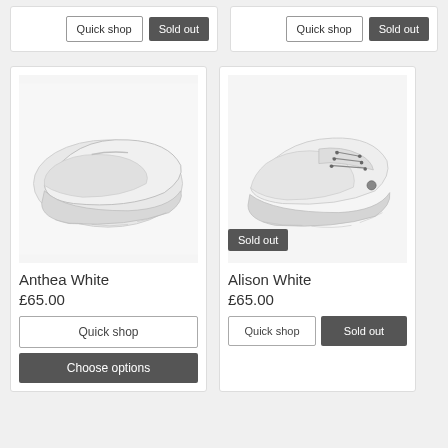[Figure (photo): Top-left product card showing Quick shop and Sold out buttons]
[Figure (photo): Top-right product card showing Quick shop and Sold out buttons]
[Figure (photo): White slip-on shoe product photo for Anthea White]
Anthea White
£65.00
[Figure (photo): White lace-up shoe product photo for Alison White with Sold out badge]
Alison White
£65.00